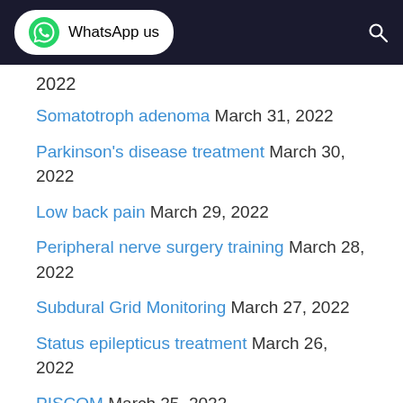WhatsApp us
2022
Somatotroph adenoma March 31, 2022
Parkinson's disease treatment March 30, 2022
Low back pain March 29, 2022
Peripheral nerve surgery training March 28, 2022
Subdural Grid Monitoring March 27, 2022
Status epilepticus treatment March 26, 2022
PISCOM March 25, 2022
Staphylococcus aureus March 24, 2022
Remote cerebellar hemorrhage March 23, 2022